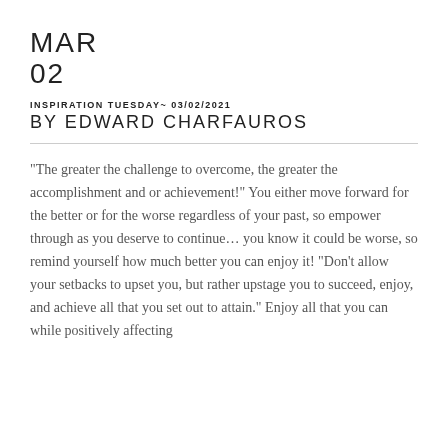MAR
02
INSPIRATION TUESDAY~ 03/02/2021
BY EDWARD CHARFAUROS
"The greater the challenge to overcome, the greater the accomplishment and or achievement!" You either move forward for the better or for the worse regardless of your past, so empower through as you deserve to continue… you know it could be worse, so remind yourself how much better you can enjoy it! "Don't allow your setbacks to upset you, but rather upstage you to succeed, enjoy, and achieve all that you set out to attain." Enjoy all that you can while positively affecting